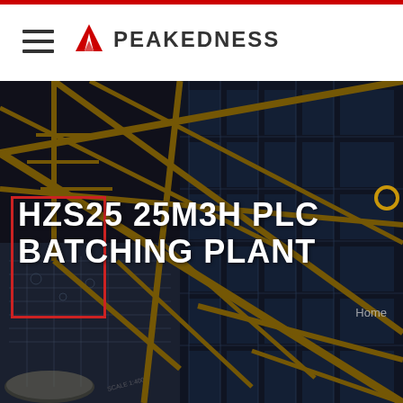PEAKEDNESS
[Figure (photo): Aerial view of industrial construction crane structure with steel yellow beams over a multi-story glass building, overlaid with technical blueprint drawings. Dark overlay makes image serve as a hero background.]
HZS25 25M3H PLC BATCHING PLANT